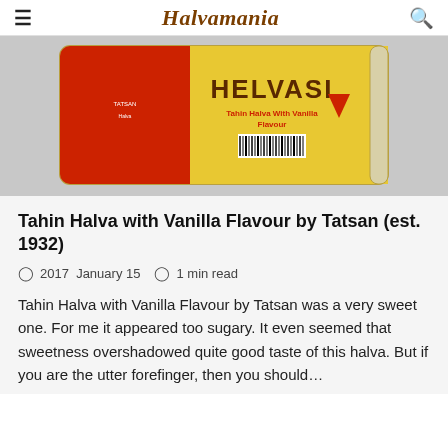Halvamania
[Figure (photo): A container of Tatsan Helvasi Tahin Halva with Vanilla Flavour, showing a yellow label with the brand name HELVASI and a red section on the left side, with a barcode and red triangle badge visible.]
Tahin Halva with Vanilla Flavour by Tatsan (est. 1932)
2017 January 15   1 min read
Tahin Halva with Vanilla Flavour by Tatsan was a very sweet one. For me it appeared too sugary. It even seemed that sweetness overshadowed quite good taste of this halva. But if you are the utter forefinger, then you should...